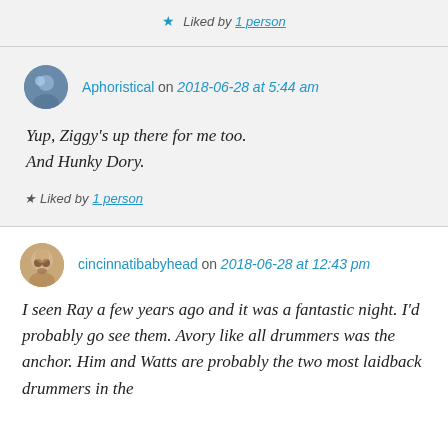★ Liked by 1 person
Aphoristical on 2018-06-28 at 5:44 am
Yup, Ziggy's up there for me too. And Hunky Dory.
★ Liked by 1 person
cincinnatibabyhead on 2018-06-28 at 12:43 pm
I seen Ray a few years ago and it was a fantastic night. I'd probably go see them. Avory like all drummers was the anchor. Him and Watts are probably the two most laidback drummers in the